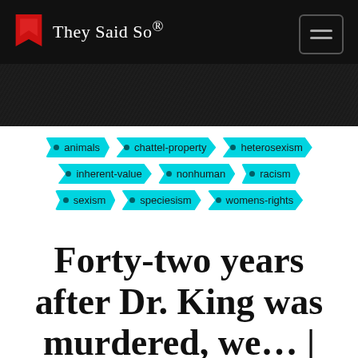They Said So®
animals
chattel-property
heterosexism
inherent-value
nonhuman
racism
sexism
speciesism
womens-rights
Forty-two years after Dr. King was murdered, we… | Gary